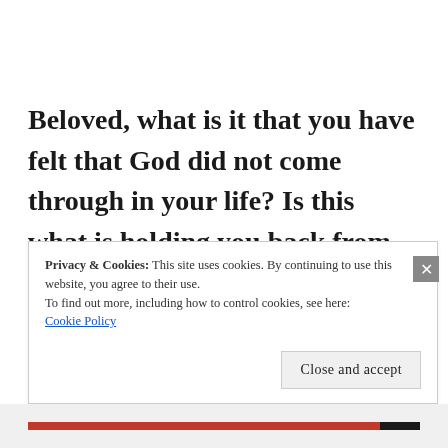Beloved, what is it that you have felt that God did not come through in your life? Is this what is holding you back from experiencing his goodness and from moving forward? Sometimes we have to take a step back and reflect and trust the process. We may never
Privacy & Cookies: This site uses cookies. By continuing to use this website, you agree to their use.
To find out more, including how to control cookies, see here:
Cookie Policy